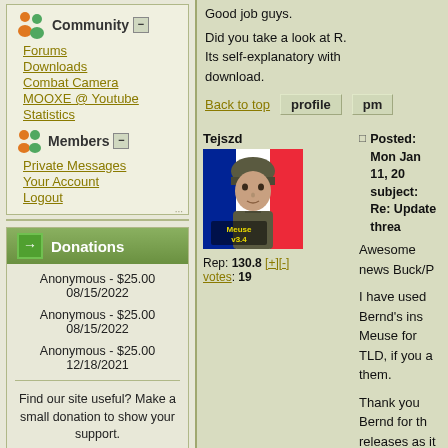Community
Forums
Downloads
Combat Camera
MOOXE @ Youtube
Statistics
Members
Private Messages
Your Account
Logout
Donations
Anonymous - $25.00
08/15/2022
Anonymous - $25.00
08/15/2022
Anonymous - $25.00
12/18/2021
Find our site useful? Make a small donation to show your support.
[Figure (logo): PayPal Donate button]
Good job guys.
Did you take a look at R. Its self-explanatory with download.
Back to top
profile
pm
Tejszd
[Figure (photo): Avatar image of Tejszd showing a soldier with Meuse v3.4 label on a French flag background]
Rep: 130.8 [+][-] votes: 19
Posted: Mon Jan 11, 20 subject: Re: Update threa
Awesome news Buck/P
I have used Bernd's ins Meuse for TLD, if you a them.
Thank you Bernd for th releases as it along wit added by Matrix make installed and allow mu without the risk of getti
Back to top
profile
pm
Gunsche
Posted: Mon Jan 11, 20